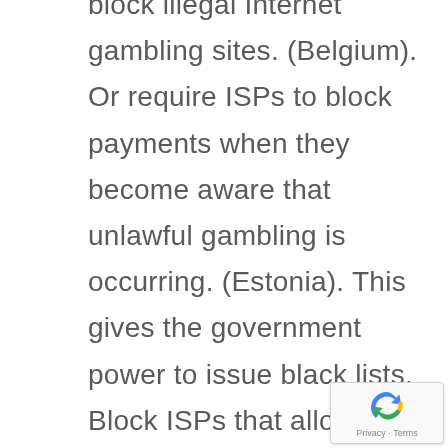block illegal Internet gambling sites. (Belgium). Or require ISPs to block payments when they become aware that unlawful gambling is occurring. (Estonia). This gives the government power to issue black lists. Block ISPs that allow users to access unauthorized gambling sites. (Sweden, Hungary). Require ISPs to redirect players to authorized websites if they try to access a site on the blacklist. (Italy).